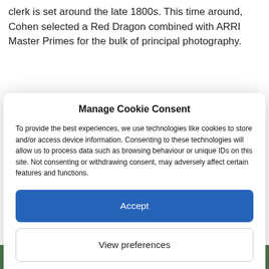clerk is set around the late 1800s. This time around, Cohen selected a Red Dragon combined with ARRI Master Primes for the bulk of principal photography.
Manage Cookie Consent
To provide the best experiences, we use technologies like cookies to store and/or access device information. Consenting to these technologies will allow us to process data such as browsing behaviour or unique IDs on this site. Not consenting or withdrawing consent, may adversely affect certain features and functions.
Accept
View preferences
Cookie Policy   Privacy Statement
at that time," he notes.
[Figure (photo): Partial view of a photo at bottom of page, appearing to show green foliage]